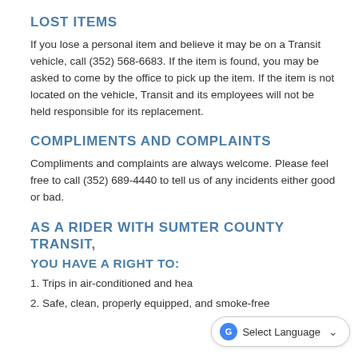LOST ITEMS
If you lose a personal item and believe it may be on a Transit vehicle, call (352) 568-6683. If the item is found, you may be asked to come by the office to pick up the item. If the item is not located on the vehicle, Transit and its employees will not be held responsible for its replacement.
COMPLIMENTS AND COMPLAINTS
Compliments and complaints are always welcome. Please feel free to call (352) 689-4440 to tell us of any incidents either good or bad.
AS A RIDER WITH SUMTER COUNTY TRANSIT,
YOU HAVE A RIGHT TO:
1. Trips in air-conditioned and hea
2. Safe, clean, properly equipped, and smoke-free